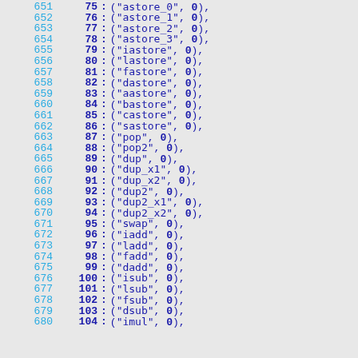651  75 : ("astore_0", 0),
652  76 : ("astore_1", 0),
653  77 : ("astore_2", 0),
654  78 : ("astore_3", 0),
655  79 : ("iastore", 0),
656  80 : ("lastore", 0),
657  81 : ("fastore", 0),
658  82 : ("dastore", 0),
659  83 : ("aastore", 0),
660  84 : ("bastore", 0),
661  85 : ("castore", 0),
662  86 : ("sastore", 0),
663  87 : ("pop", 0),
664  88 : ("pop2", 0),
665  89 : ("dup", 0),
666  90 : ("dup_x1", 0),
667  91 : ("dup_x2", 0),
668  92 : ("dup2", 0),
669  93 : ("dup2_x1", 0),
670  94 : ("dup2_x2", 0),
671  95 : ("swap", 0),
672  96 : ("iadd", 0),
673  97 : ("ladd", 0),
674  98 : ("fadd", 0),
675  99 : ("dadd", 0),
676  100 : ("isub", 0),
677  101 : ("lsub", 0),
678  102 : ("fsub", 0),
679  103 : ("dsub", 0),
680  104 : ("imul", 0),